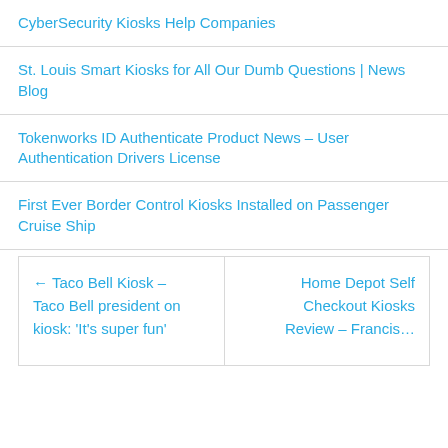CyberSecurity Kiosks Help Companies
St. Louis Smart Kiosks for All Our Dumb Questions | News Blog
Tokenworks ID Authenticate Product News – User Authentication Drivers License
First Ever Border Control Kiosks Installed on Passenger Cruise Ship
← Taco Bell Kiosk – Taco Bell president on kiosk: 'It's super fun'
Home Depot Self Checkout Kiosks Review – Francis…